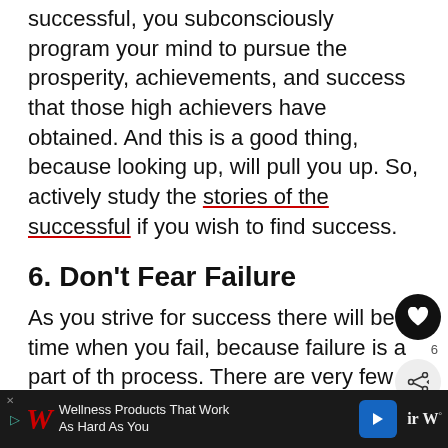successful, you subconsciously program your mind to pursue the prosperity, achievements, and success that those high achievers have obtained. And this is a good thing, because looking up, will pull you up. So, actively study the stories of the successful if you wish to find success.
6. Don't Fear Failure
As you strive for success there will be times when you fail, because failure is a part of the process. There are very few people who have set out to achieve something greater for th... ir...